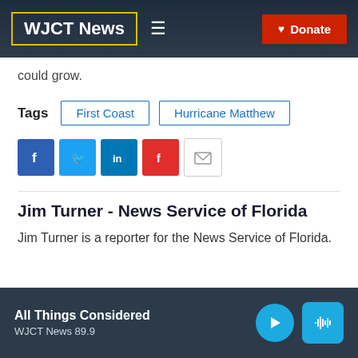WJCT News | Donate
could grow.
Tags  First Coast  Hurricane Matthew
[Figure (other): Social sharing icons: Facebook, Twitter, LinkedIn, Flipboard, Email]
Jim Turner - News Service of Florida
Jim Turner is a reporter for the News Service of Florida.
All Things Considered  WJCT News 89.9